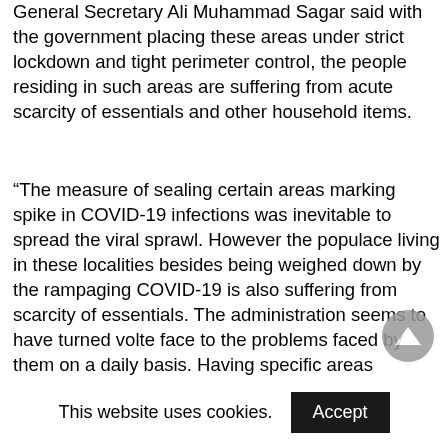General Secretary Ali Muhammad Sagar said with the government placing these areas under strict lockdown and tight perimeter control, the people residing in such areas are suffering from acute scarcity of essentials and other household items.
“The measure of sealing certain areas marking spike in COVID-19 infections was inevitable to spread the viral sprawl. However the populace living in these localities besides being weighed down by the rampaging COVID-19 is also suffering from scarcity of essentials. The administration seems to have turned volte face to the problems faced by them on a daily basis. Having specific areas designated as containment zones alone won’t help, the situation calls for proper containment and management strategy including ensuring essentials to people stuck in these zones. It would have been better if the incumbent administration would have
This website uses cookies.